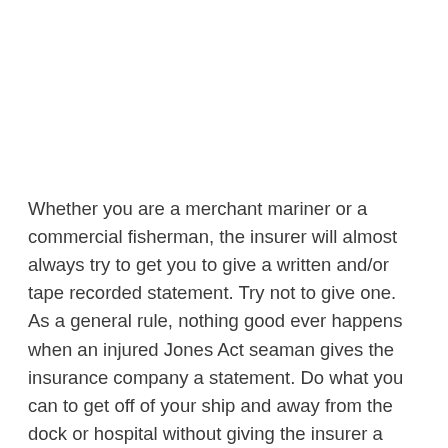Whether you are a merchant mariner or a commercial fisherman, the insurer will almost always try to get you to give a written and/or tape recorded statement. Try not to give one. As a general rule, nothing good ever happens when an injured Jones Act seaman gives the insurance company a statement. Do what you can to get off of your ship and away from the dock or hospital without giving the insurer a statement.